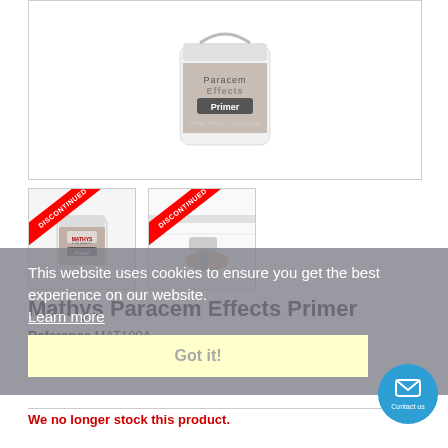[Figure (photo): Main product image: Mathys Paracem Effects Primer container, white bucket with product label, shown against white background.]
[Figure (photo): Thumbnail 1: Mathys Paracem Effects Primer bucket with red DISCONTINUED ribbon banner.]
[Figure (photo): Thumbnail 2: Hand applying primer with roller on wall, with red DISCONTINUED ribbon banner.]
This website uses cookies to ensure you get the best experience on our website.
Learn more
Got it!
Mathys Paracem Effects Primer
Reference MAT1004
We no longer stock this product.